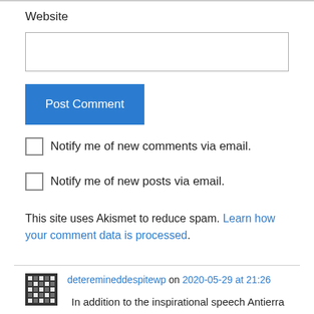Website
Post Comment
Notify me of new comments via email.
Notify me of new posts via email.
This site uses Akismet to reduce spam. Learn how your comment data is processed.
deteremineddespitewp on 2020-05-29 at 21:26
In addition to the inspirational speech Antierra